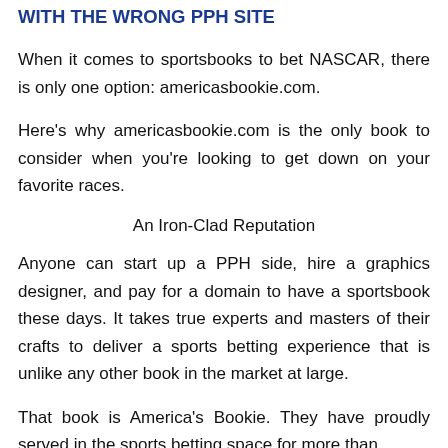WITH THE WRONG PPH SITE
When it comes to sportsbooks to bet NASCAR, there is only one option: americasbookie.com.
Here's why americasbookie.com is the only book to consider when you're looking to get down on your favorite races.
An Iron-Clad Reputation
Anyone can start up a PPH side, hire a graphics designer, and pay for a domain to have a sportsbook these days. It takes true experts and masters of their crafts to deliver a sports betting experience that is unlike any other book in the market at large.
That book is America's Bookie. They have proudly served in the sports betting space for more than